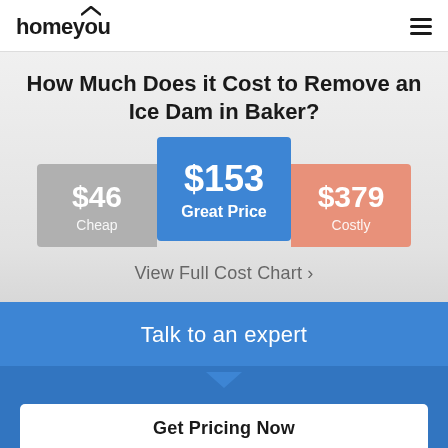homeyou
How Much Does it Cost to Remove an Ice Dam in Baker?
[Figure (infographic): Three price tier cards showing Cheap ($46), Great Price ($153), and Costly ($379) for ice dam removal in Baker. The middle card (Great Price, $153) is highlighted in blue and larger than the others.]
View Full Cost Chart >
Talk to an expert
Get Pricing Now